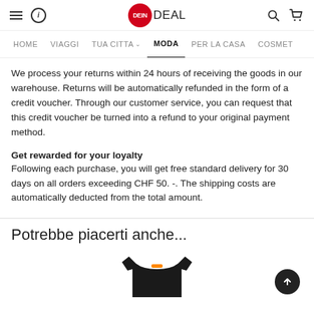DeinDeal — HOME VIAGGI TUA CITTA MODA PER LA CASA COSMET
We process your returns within 24 hours of receiving the goods in our warehouse. Returns will be automatically refunded in the form of a credit voucher. Through our customer service, you can request that this credit voucher be turned into a refund to your original payment method.
Get rewarded for your loyalty
Following each purchase, you will get free standard delivery for 30 days on all orders exceeding CHF 50. -. The shipping costs are automatically deducted from the total amount.
Potrebbe piacerti anche...
[Figure (photo): Black t-shirt with orange logo detail, partially visible at bottom of page]